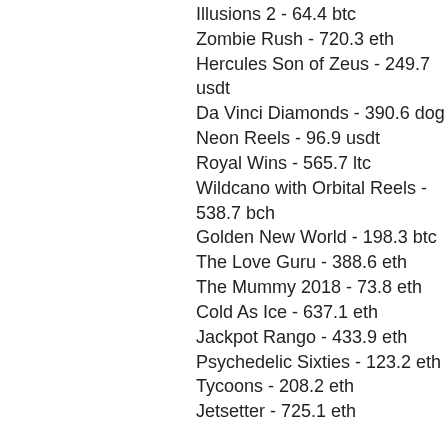Illusions 2 - 64.4 btc
Zombie Rush - 720.3 eth
Hercules Son of Zeus - 249.7 usdt
Da Vinci Diamonds - 390.6 dog
Neon Reels - 96.9 usdt
Royal Wins - 565.7 ltc
Wildcano with Orbital Reels - 538.7 bch
Golden New World - 198.3 btc
The Love Guru - 388.6 eth
The Mummy 2018 - 73.8 eth
Cold As Ice - 637.1 eth
Jackpot Rango - 433.9 eth
Psychedelic Sixties - 123.2 eth
Tycoons - 208.2 eth
Jetsetter - 725.1 eth
Videoslots, card and board games:
Mars Casino Chilli Gold
Diamond Reels Casino USSR Seventies
King Billy Casino Mystery Jack
Diamond Reels Casino Bell Wizard